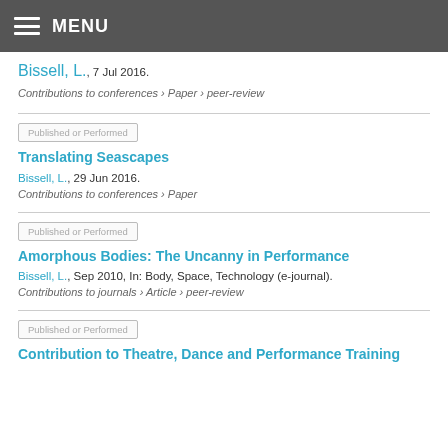MENU
Bissell, L., 7 Jul 2016.
Contributions to conferences › Paper › peer-review
Published or Performed
Translating Seascapes
Bissell, L., 29 Jun 2016.
Contributions to conferences › Paper
Published or Performed
Amorphous Bodies: The Uncanny in Performance
Bissell, L., Sep 2010, In: Body, Space, Technology (e-journal).
Contributions to journals › Article › peer-review
Published or Performed
Contribution to Theatre, Dance and Performance Training